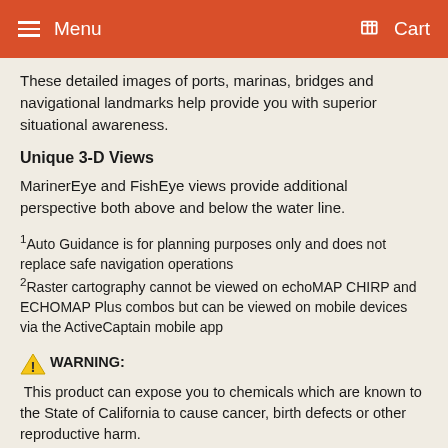Menu  Cart
These detailed images of ports, marinas, bridges and navigational landmarks help provide you with superior situational awareness.
Unique 3-D Views
MarinerEye and FishEye views provide additional perspective both above and below the water line.
¹Auto Guidance is for planning purposes only and does not replace safe navigation operations
²Raster cartography cannot be viewed on echoMAP CHIRP and ECHOMAP Plus combos but can be viewed on mobile devices via the ActiveCaptain mobile app
⚠ WARNING: This product can expose you to chemicals which are known to the State of California to cause cancer, birth defects or other reproductive harm.